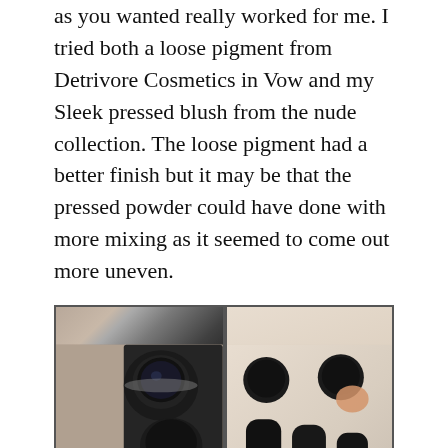as you wanted really worked for me. I tried both a loose pigment from Detrivore Cosmetics in Vow and my Sleek pressed blush from the nude collection. The loose pigment had a better finish but it may be that the pressed powder could have done with more mixing as it seemed to come out more uneven.
[Figure (photo): Two side-by-side photos: left shows makeup products including a glitter pigment jar, a black palette with dark pressed pigment, and an orange/bronze lip product and a gold shimmer eyeshadow pan; right shows swatches on skin — dark circular swatches at top and elongated dark swatches below with a peachy-orange swatch in the middle.]
Having success with the foundation I tried it with eyeshadows with mixed results. I have shown it with a matte pressed powder from the Original Sleek palette, an unknown orangey shade from Scaredy Cat Cosmetics which is a shimmery loose pigment and That Man's Playing Galaga from Shiro